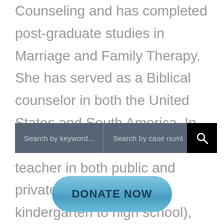Counseling and has completed post-graduate studies in Marriage and Family Therapy. She has served as a Biblical counselor in both the United States and South America. In addition, she has worked as a teacher in both public and private schools (from kindergarten to high school), and has been a school counselor.
[Figure (screenshot): Search bar UI with two input fields: 'Search by keyword...' and 'Search by case numl', and a black search button with magnifying glass icon]
[Figure (screenshot): Blue rounded 'DONATE NOW' button]